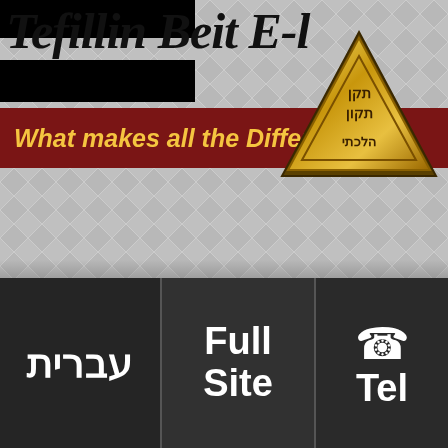Tefillin Beit E-l
What makes all the Difference!
[Figure (logo): Gold triangular logo with Hebrew text]
Tefillin home page › Tfidanit-site › The
[Figure (photo): Person wearing tefillin on head, seen from behind/side, against light blue sky background]
עברית
Full Site
Tel